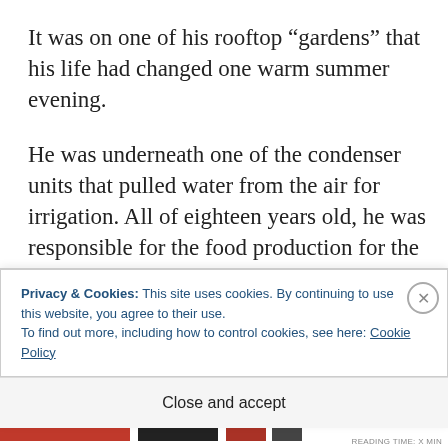It was on one of his rooftop “gardens” that his life had changed one warm summer evening.
He was underneath one of the condenser units that pulled water from the air for irrigation. All of eighteen years old, he was responsible for the food production for the entire Red Badge.
He’d run through the unit’s diagnostics app to
Privacy & Cookies: This site uses cookies. By continuing to use this website, you agree to their use.
To find out more, including how to control cookies, see here: Cookie Policy
Close and accept